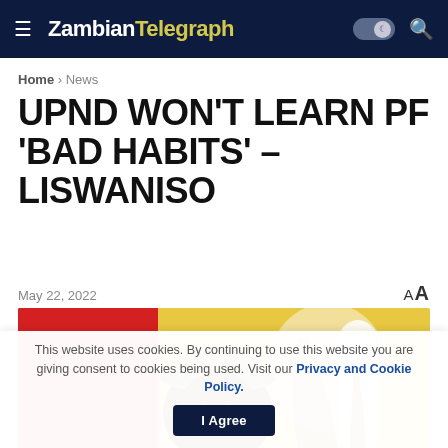Zambian Telegraph
Home > News
UPND WON'T LEARN PF 'BAD HABITS' – LISWANISO
May 22, 2022  AA
[Figure (photo): A man wearing a brown tweed flat cap photographed in front of a colorful background with red and yellow colors and a painted figure]
This website uses cookies. By continuing to use this website you are giving consent to cookies being used. Visit our Privacy and Cookie Policy.